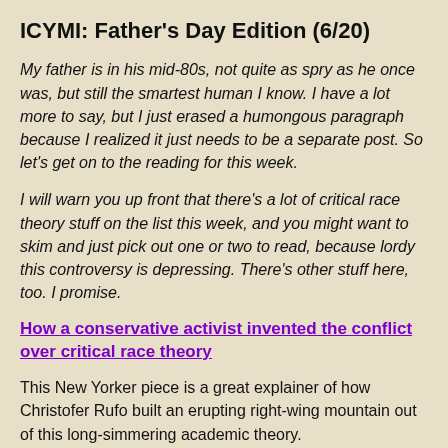ICYMI: Father's Day Edition (6/20)
My father is in his mid-80s, not quite as spry as he once was, but still the smartest human I know. I have a lot more to say, but I just erased a humongous paragraph because I realized it just needs to be a separate post. So let's get on to the reading for this week.
I will warn you up front that there's a lot of critical race theory stuff on the list this week, and you might want to skim and just pick out one or two to read, because lordy this controversy is depressing. There's other stuff here, too. I promise.
How a conservative activist invented the conflict over critical race theory
This New Yorker piece is a great explainer of how Christofer Rufo built an erupting right-wing mountain out of this long-simmering academic theory.